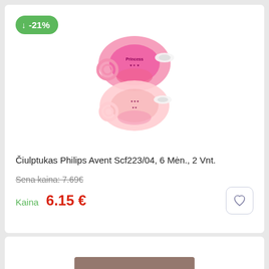[Figure (photo): Pink Philips Avent pacifiers, two pieces, model Scf223/04 for 6 months and older. Shown on white background with a -21% discount badge.]
Čiulptukas Philips Avent Scf223/04, 6 Mėn., 2 Vnt.
Sena kaina: 7.69€
Kaina  6.15 €
[Figure (photo): Photo of a small purple/lavender device being held by hands, with accessories, on a wooden background.]